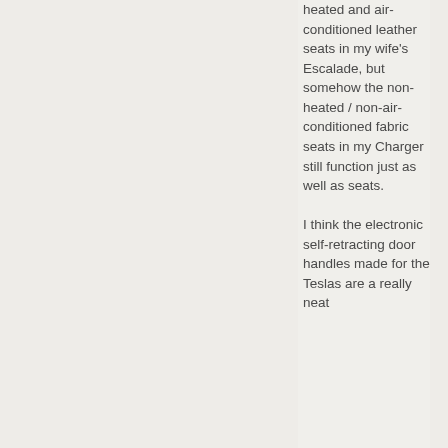heated and air-conditioned leather seats in my wife's Escalade, but somehow the non-heated / non-air-conditioned fabric seats in my Charger still function just as well as seats.

I think the electronic self-retracting door handles made for the Teslas are a really neat